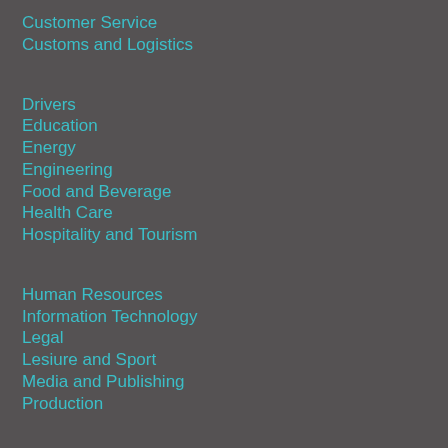Customer Service
Customs and Logistics
Drivers
Education
Energy
Engineering
Food and Beverage
Health Care
Hospitality and Tourism
Human Resources
Information Technology
Legal
Lesiure and Sport
Media and Publishing
Production
Project Management